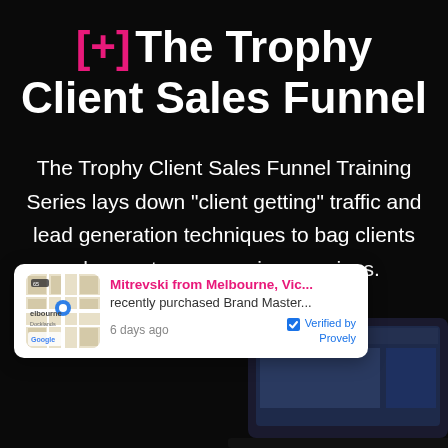[+] The Trophy Client Sales Funnel
The Trophy Client Sales Funnel Training Series lays down "client getting" traffic and lead generation techniques to bag clients who want your premium services.
[Figure (infographic): A social proof notification card showing a map thumbnail of Melbourne, Docklands area with Google Maps branding, and text: Mitrevski from Melbourne, Vic... recently purchased Brand Master... 6 days ago, Verified by Provely. Partially visible laptop screen in the background.]